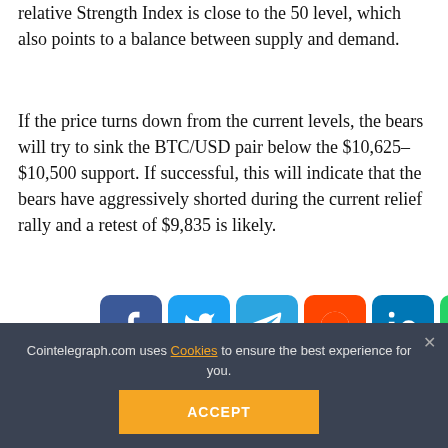relative Strength Index is close to the 50 level, which also points to a balance between supply and demand.
If the price turns down from the current levels, the bears will try to sink the BTC/USD pair below the $10,625–$10,500 support. If successful, this will indicate that the bears have aggressively shorted during the current relief rally and a retest of $9,835 is likely.
Conversely, if the pair rebounds off the $10,625–$10,500 support, it will show that the bulls continue to buy at high
[Figure (infographic): Social share buttons: Facebook (blue), Twitter (light blue), Telegram (blue), Reddit (orange), LinkedIn (blue), WhatsApp (green), Copy (gray), Scroll up (yellow/gold)]
A breakout and close (UTC time) above $11,000 could push
likely to act as a stiff resistance but if the bulls can drive the price above it, a            ll be on the cards.
Cointelegraph.com uses Cookies to ensure the best experience for you.
ACCEPT